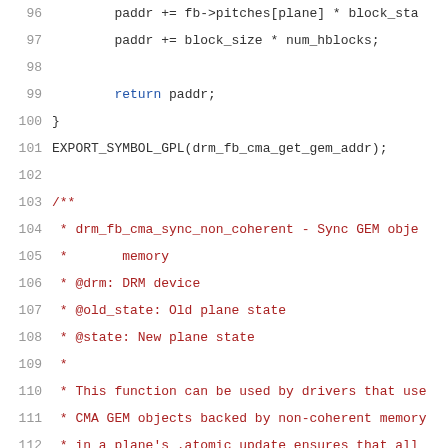Source code lines 96-116 showing C kernel code with comments about drm_fb_cma_sync_non_coherent function
96: paddr += fb->pitches[plane] * block_sta
97: paddr += block_size * num_hblocks;
98: (empty)
99: return paddr;
100: }
101: EXPORT_SYMBOL_GPL(drm_fb_cma_get_gem_addr);
102: (empty)
103: /**
104:  * drm_fb_cma_sync_non_coherent - Sync GEM obje
105:  *       memory
106:  * @drm: DRM device
107:  * @old_state: Old plane state
108:  * @state: New plane state
109:  *
110:  * This function can be used by drivers that use
111:  * CMA GEM objects backed by non-coherent memory
112:  * in a plane's .atomic_update ensures that all
113:  * memory have been written to RAM.
114:  */
115: void drm_fb_cma_sync_non_coherent(struct drm_de
116:                                            struct drm_pl